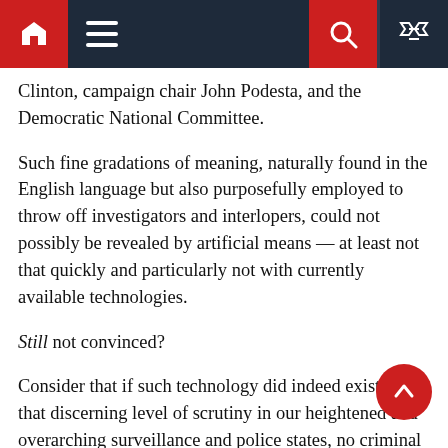navbar with home, menu, search, shuffle icons
Clinton, campaign chair John Podesta, and the Democratic National Committee.
Such fine gradations of meaning, naturally found in the English language but also purposefully employed to throw off investigators and interlopers, could not possibly be revealed by artificial means — at least not that quickly and particularly not with currently available technologies.
Still not convinced?
Consider that if such technology did indeed exist to that discerning level of scrutiny in our heightened and overarching surveillance and police states, no criminal would ever roam free.
Law enforcement departments and the National Security